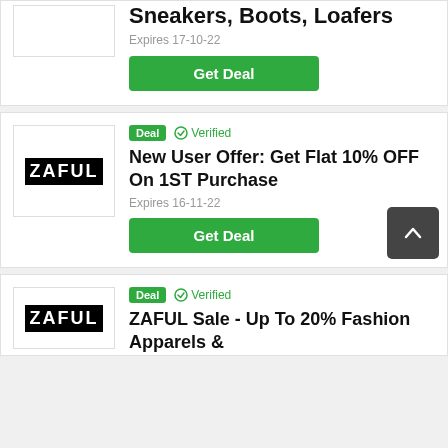Sneakers, Boots, Loafers
Expires 17-10-22
Get Deal
Deal  Verified
New User Offer: Get Flat 10% OFF On 1ST Purchase
Expires 16-11-22
Get Deal
Deal  Verified
ZAFUL Sale - Up To 20% Fashion Apparels &